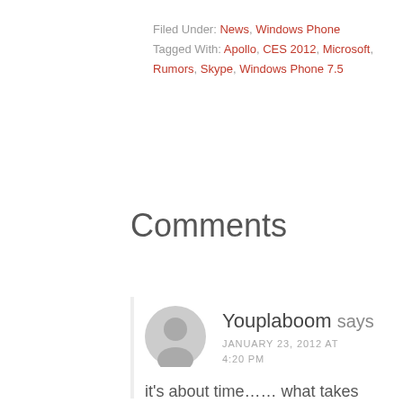Filed Under: News, Windows Phone
Tagged With: Apollo, CES 2012, Microsoft, Rumors, Skype, Windows Phone 7.5
Comments
Youplaboom says
JANUARY 23, 2012 AT 4:20 PM
it's about time…… what takes them so long?
REPLY